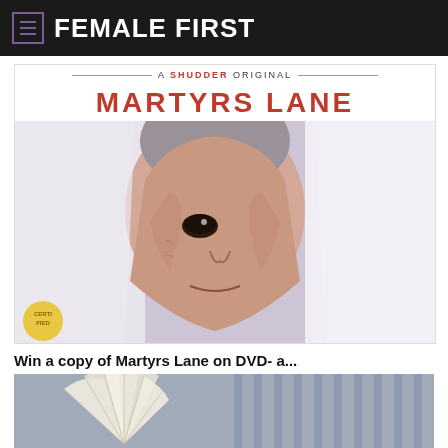FEMALE FIRST
[Figure (photo): Martyrs Lane movie poster - A Shudder Original. Shows a child's face peering through white fabric/sheets with unsettling makeup. Title 'MARTYRS LANE' in large red serif letters at top.]
Win a copy of Martyrs Lane on DVD- a...
[Figure (photo): Partial image showing a decorative hand fan and striped background, appears to be a second article thumbnail.]